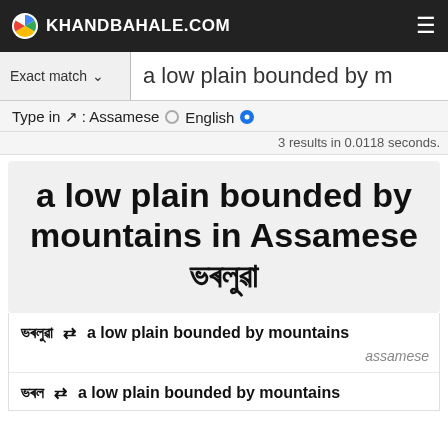KHANDBAHALE.COM
Exact match ▾  a low plain bounded by m
Type in ↗ : Assamese ○ English ●
3 results in 0.0118 seconds.
a low plain bounded by mountains in Assamese ভৰলুৱা
ভৰলুৱা ⇄ a low plain bounded by mountains  assamese
ভৰল ⇄ a low plain bounded by mountains